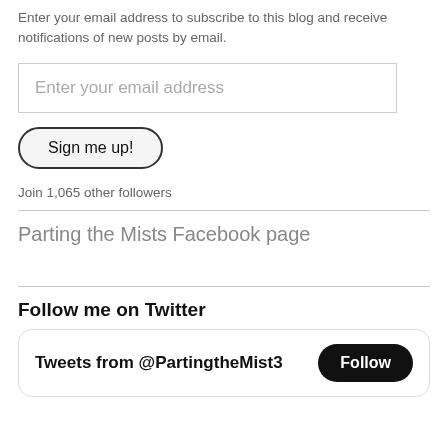Enter your email address to subscribe to this blog and receive notifications of new posts by email.
Enter your email address
Sign me up!
Join 1,065 other followers
Parting the Mists Facebook page
Follow me on Twitter
Tweets from @PartingtheMist3
Follow